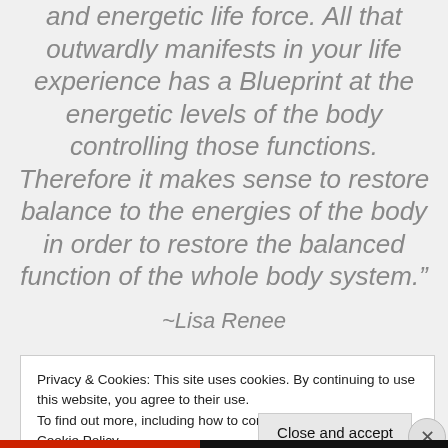and energetic life force. All that outwardly manifests in your life experience has a Blueprint at the energetic levels of the body controlling those functions. Therefore it makes sense to restore balance to the energies of the body in order to restore the balanced function of the whole body system.”
~Lisa Renee
Privacy & Cookies: This site uses cookies. By continuing to use this website, you agree to their use.
To find out more, including how to control cookies, see here: Cookie Policy